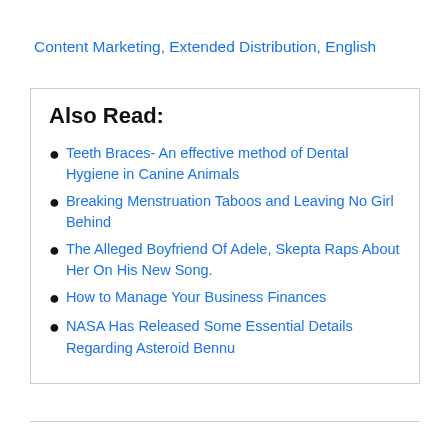Content Marketing, Extended Distribution, English
Also Read:
Teeth Braces- An effective method of Dental Hygiene in Canine Animals
Breaking Menstruation Taboos and Leaving No Girl Behind
The Alleged Boyfriend Of Adele, Skepta Raps About Her On His New Song.
How to Manage Your Business Finances
NASA Has Released Some Essential Details Regarding Asteroid Bennu